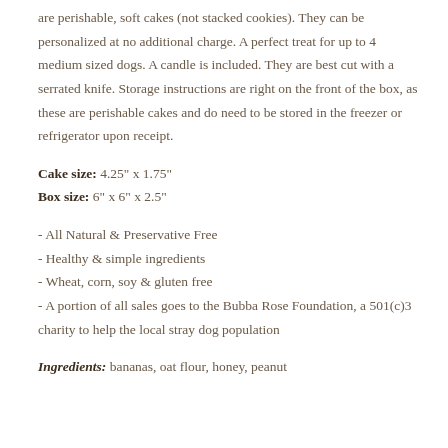are perishable, soft cakes (not stacked cookies). They can be personalized at no additional charge. A perfect treat for up to 4 medium sized dogs. A candle is included. They are best cut with a serrated knife. Storage instructions are right on the front of the box, as these are perishable cakes and do need to be stored in the freezer or refrigerator upon receipt.
Cake size: 4.25" x 1.75"
Box size: 6" x 6" x 2.5"
- All Natural & Preservative Free
- Healthy & simple ingredients
- Wheat, corn, soy & gluten free
- A portion of all sales goes to the Bubba Rose Foundation, a 501(c)3 charity to help the local stray dog population
Ingredients: bananas, oat flour, honey, peanut